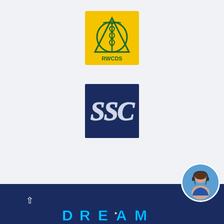[Figure (logo): RWCDS logo: yellow square background with green triangle, circle, and caduceus symbol, text RWCDS below the emblem]
[Figure (logo): SSC logo: dark navy blue square with large stylized italic SSC letters in silver/white]
[Figure (photo): Circular avatar photo of a woman with headset in bottom right corner, overlapping navy blue footer bar]
^
DREAM (partially visible, colorful block letters with moon and stars)